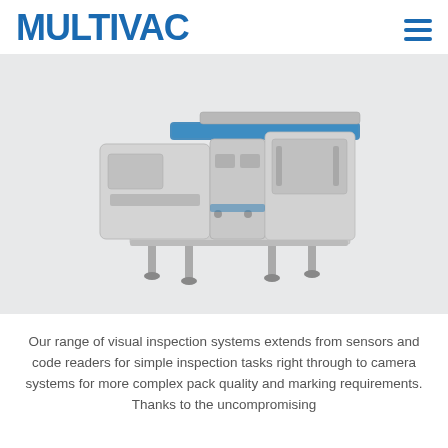MULTIVAC
[Figure (photo): MULTIVAC industrial packaging/inspection machine — a stainless steel machine with blue conveyor belt elements, mechanical arms, and adjustable legs, photographed on a light grey background]
Our range of visual inspection systems extends from sensors and code readers for simple inspection tasks right through to camera systems for more complex pack quality and marking requirements. Thanks to the uncompromising